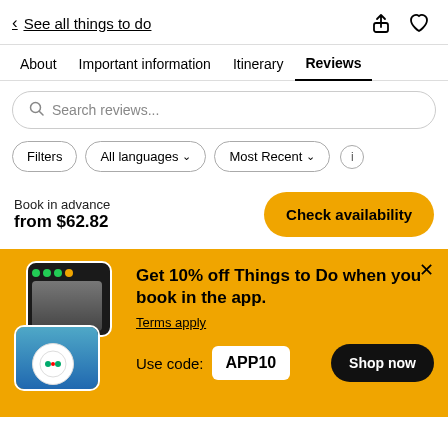< See all things to do
About
Important information
Itinerary
Reviews
Search reviews...
Filters  All languages ∨  Most Recent ∨
Book in advance
from $62.82
Check availability
Get 10% off Things to Do when you book in the app.
Terms apply
Use code: APP10
Shop now